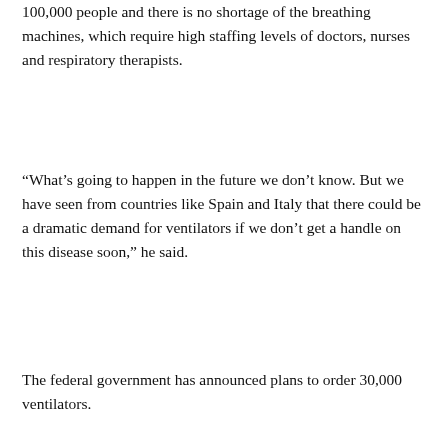100,000 people and there is no shortage of the breathing machines, which require high staffing levels of doctors, nurses and respiratory therapists.
“What’s going to happen in the future we don’t know. But we have seen from countries like Spain and Italy that there could be a dramatic demand for ventilators if we don’t get a handle on this disease soon,” he said.
The federal government has announced plans to order 30,000 ventilators.
Camille Bains, The Canadian Press
[Figure (other): Scroll-to-top circular button with upward chevron arrow, dark grey background]